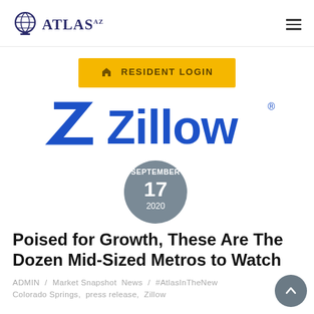ATLAS AZ — navigation header with hamburger menu
[Figure (other): Resident Login button with house icon, gold/yellow background]
[Figure (logo): Zillow logo in blue with trademark symbol]
[Figure (other): Date badge: SEPTEMBER 17 2020, grey circle]
Poised for Growth, These Are The Dozen Mid-Sized Metros to Watch
ADMIN / Market Snapshot News / #AtlasInTheNews Colorado Springs, press release, Zillow